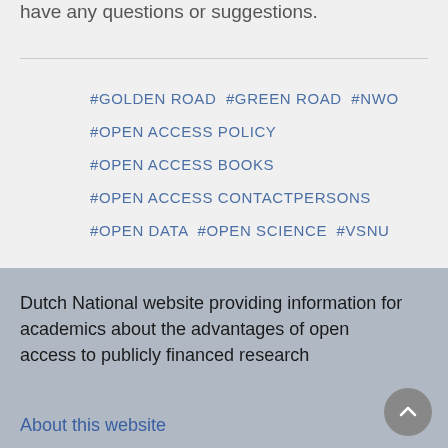have any questions or suggestions.
#GOLDEN ROAD  #GREEN ROAD  #NWO
#OPEN ACCESS POLICY
#OPEN ACCESS BOOKS
#OPEN ACCESS CONTACTPERSONS
#OPEN DATA  #OPEN SCIENCE  #VSNU
Dutch National website providing information for academics about the advantages of open access to publicly financed research
About this website